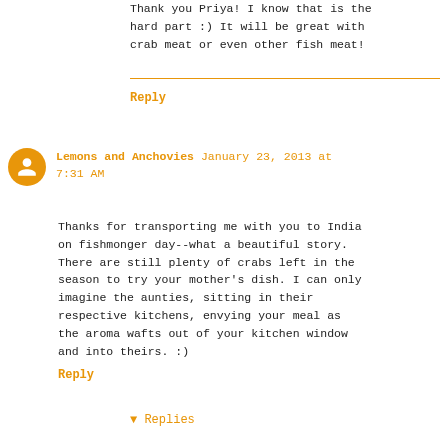Thank you Priya! I know that is the hard part :) It will be great with crab meat or even other fish meat!
Reply
Lemons and Anchovies January 23, 2013 at 7:31 AM
Thanks for transporting me with you to India on fishmonger day--what a beautiful story. There are still plenty of crabs left in the season to try your mother's dish. I can only imagine the aunties, sitting in their respective kitchens, envying your meal as the aroma wafts out of your kitchen window and into theirs. :)
Reply
▼ Replies